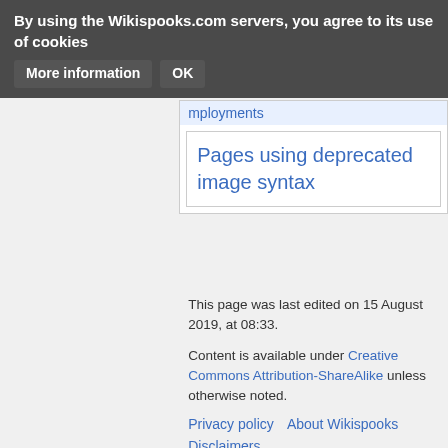By using the Wikispooks.com servers, you agree to its use of cookies  More information  OK
Pages using deprecated image syntax
This page was last edited on 15 August 2019, at 08:33.
Content is available under Creative Commons Attribution-ShareAlike unless otherwise noted.
Privacy policy    About Wikispooks
Disclaimers
[Figure (logo): Creative Commons BY-SA license badge]
[Figure (logo): Powered by MediaWiki badge]
[Figure (logo): Semantic MediaWiki badge]